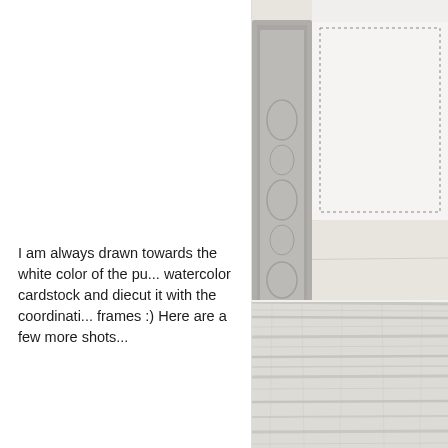[Figure (photo): Close-up photo of a decorative white and silver picture frame on a wood surface, with STAMPlorations Deepti Malik inspiration design team watermark overlay]
I am always drawn towards the white color of the pu... watercolor cardstock and diecut it with the coordinati... frames :) Here are a few more shots...
[Figure (photo): Close-up photo of a light grey weathered wood plank surface texture]